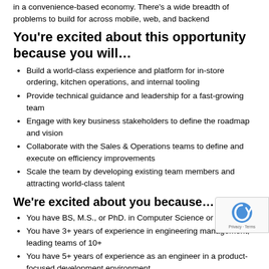in a convenience-based economy. There's a wide breadth of problems to build for across mobile, web, and backend
You're excited about this opportunity because you will…
Build a world-class experience and platform for in-store ordering, kitchen operations, and internal tooling
Provide technical guidance and leadership for a fast-growing team
Engage with key business stakeholders to define the roadmap and vision
Collaborate with the Sales & Operations teams to define and execute on efficiency improvements
Scale the team by developing existing team members and attracting world-class talent
We're excited about you because…
You have BS, M.S., or PhD. in Computer Science or equivalent
You have 3+ years of experience in engineering management, leading teams of 10+
You have 5+ years of experience as an engineer in a product-focused development environment